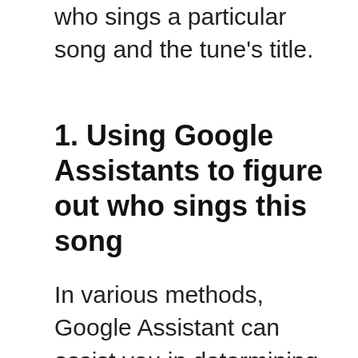who sings a particular song and the tune's title.
1. Using Google Assistants to figure out who sings this song
In various methods, Google Assistant can assist you in determining who performs a song and its title.